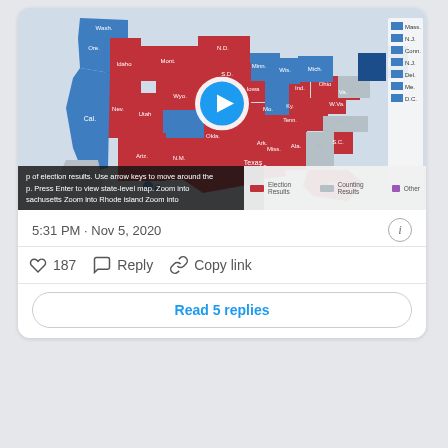[Figure (map): US electoral map showing 2020 election results with states colored red (Republican), blue (Democrat), and gray (counting/other). A play button overlay is centered on the map. Small legend on right side lists Mass., N.J., Conn., N.J., Del., Me., D.C. in blue.]
p of election results. Use arrow keys to move around the p. Press Enter to view state-level map. Zoom into sachusetts Zoom into Rhode island Zoom into
5:31 PM · Nov 5, 2020
187  Reply  Copy link
Read 5 replies